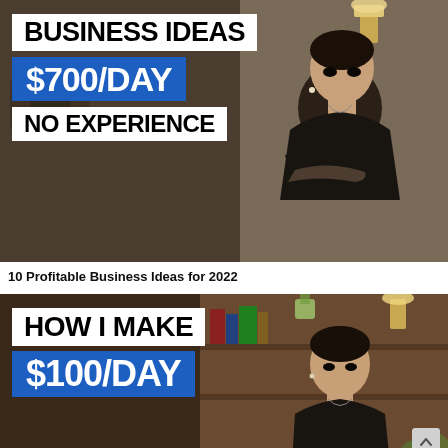[Figure (screenshot): YouTube video thumbnail showing a young Asian man with arms crossed wearing a black t-shirt. Text overlays: 'BUSINESS IDEAS' in black on white background, '$700/DAY' in white on blue background, 'NO EXPERIENCE' in black on white background.]
10 Profitable Business Ideas for 2022
[Figure (screenshot): YouTube video thumbnail showing same young Asian man in front of a bookshelf. Text overlays: 'HOW I MAKE' in black on white background, '$100/DAY' in white on blue background. Scroll-to-top button visible in bottom right.]